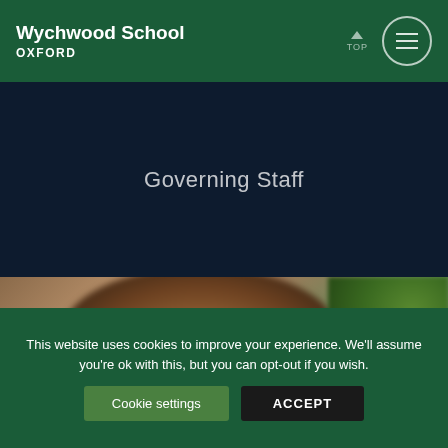Wychwood School OXFORD
Governing Staff
[Figure (photo): Partial view of a person's head with brown hair, against a blurred green foliage background]
This website uses cookies to improve your experience. We'll assume you're ok with this, but you can opt-out if you wish.
Cookie settings   ACCEPT